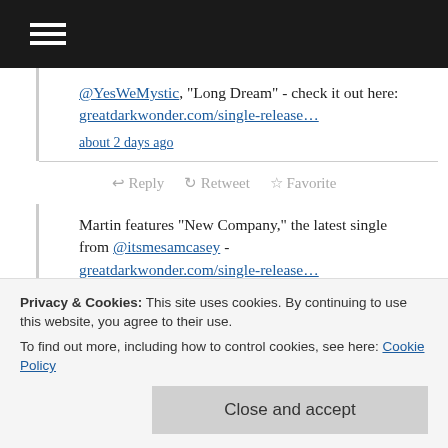≡ (hamburger menu icon)
@YesWeMystic, "Long Dream" - check it out here: greatdarkwonder.com/single-release…
about 2 days ago
↩ Reply ↺ Retweet ☆ Favorite
Martin features "New Company," the latest single from @itsmesamcasey - greatdarkwonder.com/single-release…
about 5 days ago
↩ Reply ↺ Retweet ☆ Favorite
Privacy & Cookies: This site uses cookies. By continuing to use this website, you agree to their use.
To find out more, including how to control cookies, see here: Cookie Policy
Close and accept
↩ Reply ↺ Retweet ☆ Favorite